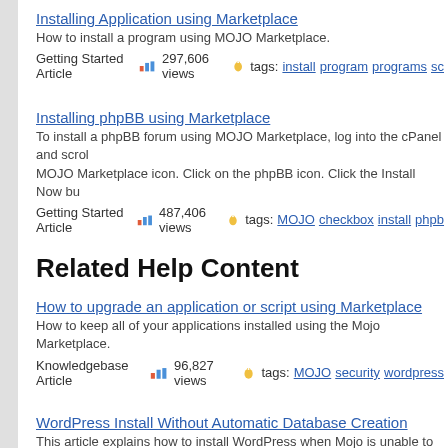Installing Application using Marketplace — How to install a program using MOJO Marketplace. Getting Started Article 297,606 views tags: install program programs sc
Installing phpBB using Marketplace — To install a phpBB forum using MOJO Marketplace, log into the cPanel and scroll to the MOJO Marketplace icon. Click on the phpBB icon. Click the Install Now bu. Getting Started Article 487,406 views tags: MOJO checkbox install phpb
Related Help Content
How to upgrade an application or script using Marketplace — How to keep all of your applications installed using the Mojo Marketplace. Knowledgebase Article 96,827 views tags: MOJO security wordpress
WordPress Install Without Automatic Database Creation — This article explains how to install WordPress when Mojo is unable to create the. Knowledgebase Article 146,886 views tags: MOJO automatic database